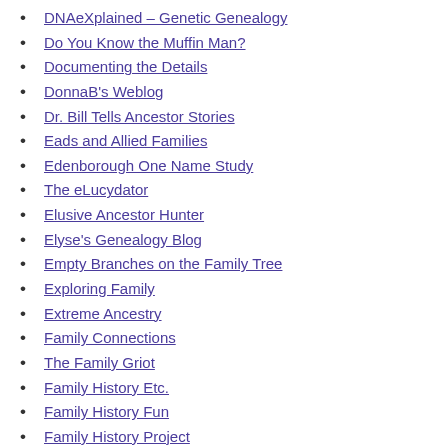DNAeXplained – Genetic Genealogy
Do You Know the Muffin Man?
Documenting the Details
DonnaB's Weblog
Dr. Bill Tells Ancestor Stories
Eads and Allied Families
Edenborough One Name Study
The eLucydator
Elusive Ancestor Hunter
Elyse's Genealogy Blog
Empty Branches on the Family Tree
Exploring Family
Extreme Ancestry
Family Connections
The Family Griot
Family History Etc.
Family History Fun
Family History Project
Family Stories